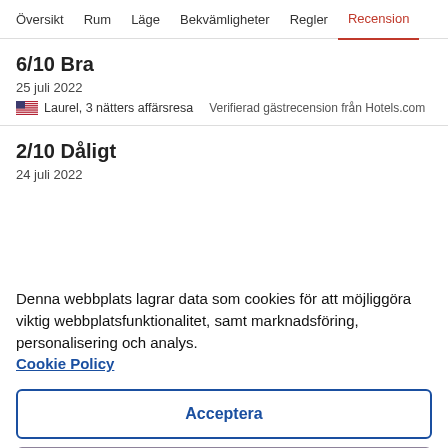Översikt  Rum  Läge  Bekvämligheter  Regler  Recension
6/10 Bra
25 juli 2022
Laurel, 3 nätters affärsresa   Verifierad gästrecension från Hotels.com
2/10 Dåligt
24 juli 2022
Denna webbplats lagrar data som cookies för att möjliggöra viktig webbplatsfunktionalitet, samt marknadsföring, personalisering och analys. Cookie Policy
Acceptera
Avböj